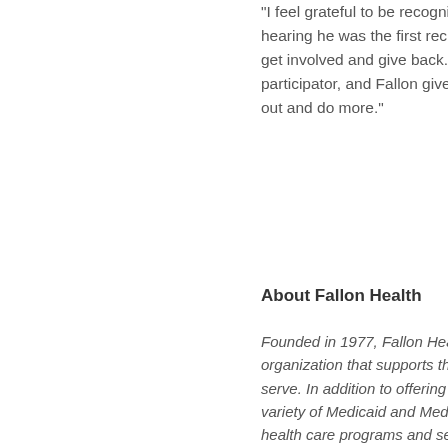“I feel grateful to be recognized hearing he was the first recipient get involved and give back. W participator, and Fallon gives m out and do more.”
About Fallon Health
Founded in 1977, Fallon Health organization that supports the serve. In addition to offering in variety of Medicaid and Medica health care programs and serv care for seniors and individual consistently ranked among the accredited by the National Com